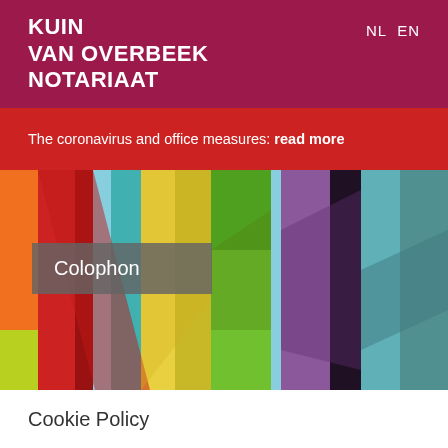KUIN
VAN OVERBEEK
NOTARIAAT
NL EN
The coronavirus and office measures: read more
[Figure (photo): Colorful hot air balloon panels arranged in vertical strips showing reds, yellows, greens, blues, and purples]
Colophon
Cookie Policy